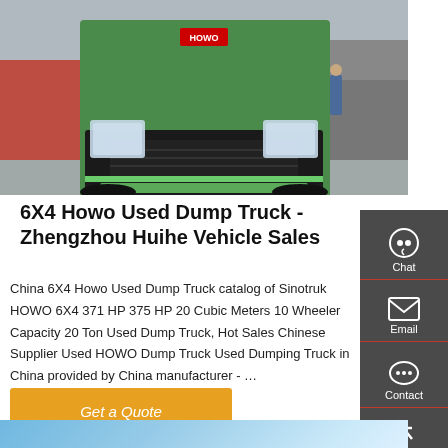[Figure (photo): Front view of a green HOWO dump truck in a vehicle yard with other trucks and red equipment visible in background]
6X4 Howo Used Dump Truck - Zhengzhou Huihe Vehicle Sales
China 6X4 Howo Used Dump Truck catalog of Sinotruk HOWO 6X4 371 HP 375 HP 20 Cubic Meters 10 Wheeler Capacity 20 Ton Used Dump Truck, Hot Sales Chinese Supplier Used HOWO Dump Truck Used Dumping Truck in China provided by China manufacturer - …
[Figure (screenshot): Sidebar navigation panel with Chat, Email, Contact, and Top buttons on dark background]
Get a Quote
[Figure (photo): Bottom strip showing partial view of another page or image with blue gradient]